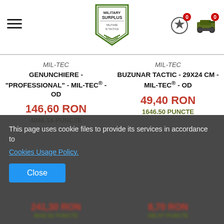Military Surplus – navigation header with logo, hamburger menu, and cart icons
MIL-TEC
GENUNCHIERE - "PROFESSIONAL" - MIL-TEC® - OD
146,60 RON
4886.18 PUNCTE
MIL-TEC
BUZUNAR TACTIC - 29X24 CM - MIL-TEC® - OD
49,40 RON
1646.50 PUNCTE
This page uses cookie files to provide its services in accordance to Cookie Usage Policy.
Close
241,30 RON
8042.52 PUNCTE
8,70 RON
290.07 PUNCTE